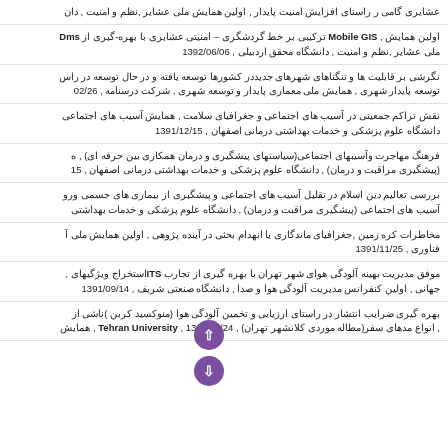عشایری گامی ر راستای افزایش امنیت پایدار , اولین همایش ملی عشایر ,نظم و امنیت , دان
اولین همایش , Mobile GIS ترکیبی بر خط گردشگری – امنیتی عشایری با بهره-گیری از Dms ملی عشایر ,نظم و امنیت , دانشگاه محقق اردبیلی , 1392/06/06
نگرشی بر قابلیت ها و تنگناهای شهرهای جدیددر کشورها توسعه یافته و در حال توسعه در راس توسعه پایدار شهری , همایش ملی معماری پایدار و توسعه شهری , شرکت درسنامه , 02/26
نقش تراکم جمعیتی در آسیب های اجتماعی و جغرافیای سلامت , همایش آسیب های اجتماعی دانشگاه علوم پزشکی و خدمات بهداشتی درمانی اصفهان , 1391/12/15
فرهنگ مهاجرت وآسیبهای اجتماعی(سیاستهای پیشگیری و درمان همکاری بین حرفه ای) , ه (پیشگیری مراقبت و درمان) , دانشگاه علوم پزشکی و خدمات بهداشتی درمانی اصفهان , 15
بررسی تعالیم دین اسلام در تقلیل آسیب های اجتماعی و پیشگیری از بیماری های جسمی ورو آسیب های اجتماعی (پیشگیری مراقبت و درمان) , دانشگاه علوم پزشکی و خدمات بهداشتی
مخاطرات کره زمین ,جغرافیای ماندگاری یا انهدام بحثی در آینده پژوهی , اولین همایش ملی آ فناوری , 1391/11/25
موفق مدیریت بهینه آلودگی هوای شهر تهران با بهره گیری از تجارب ITSاستخراج ویژگیهای جهانی , اولین کنفرانس مدیریت آلودگی هوا و صدا , دانشگاه صنعتی شریف , 1391/09/14
بهره گیری ضرایب انتشار در راستای ارزیابی و تخمین آلودگی هوا (منوکسید کربن )ناشی از , انواع مدهای سفر(مطاله موردی کلانشهر تهران) , Tehran University , 1391/08/24 , همایش